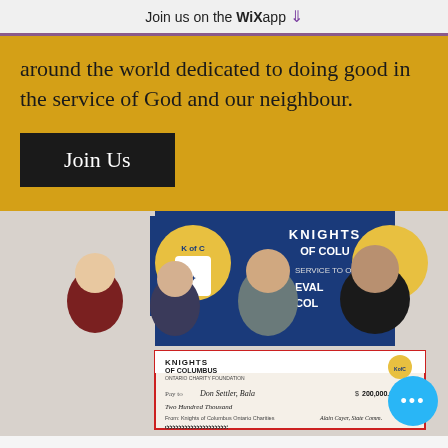Join us on the WiX app ↓
around the world dedicated to doing good in the service of God and our neighbour.
Join Us
[Figure (photo): Four men standing in front of a Knights of Columbus banner, holding a large ceremonial cheque from the Knights of Columbus Ontario Charity Foundation made out to 'Don Settler, Bala' for 'Two Hundred Thousand' dollars ($200,000.00), signed by Alain Cayer, State Comm.]